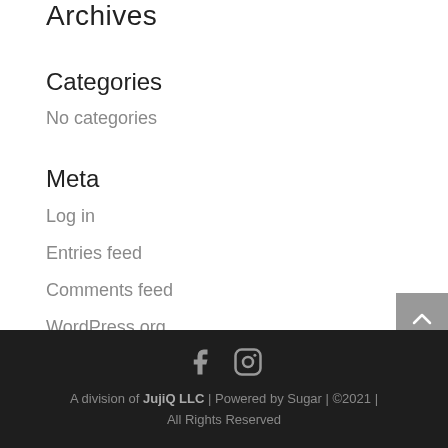Archives
Categories
No categories
Meta
Log in
Entries feed
Comments feed
WordPress.org
A division of JujiQ LLC | Powered by Sugar | ©2021 | All Rights Reserved